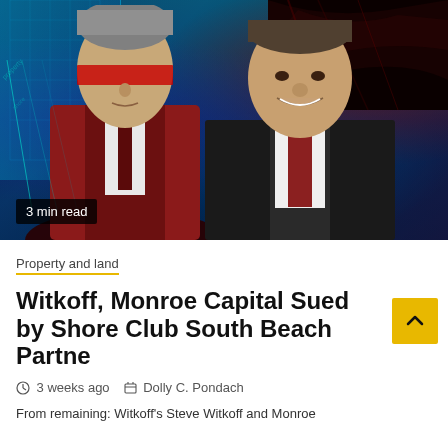[Figure (photo): Hero image showing two men in suits against a cyan/blue/red abstract collage background. Left man wears dark suit with red bar over eyes. Right man smiles, wearing dark suit with red tie. Text overlay reads '3 min read'.]
3 min read
Property and land
Witkoff, Monroe Capital Sued by Shore Club South Beach Partne
3 weeks ago   Dolly C. Pondach
From remaining: Witkoff's Steve Witkoff and Monroe